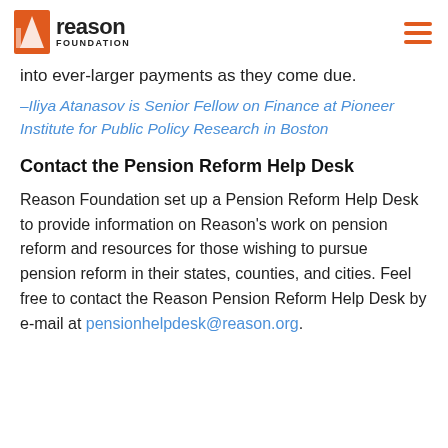Reason Foundation
into ever-larger payments as they come due.
–Iliya Atanasov is Senior Fellow on Finance at Pioneer Institute for Public Policy Research in Boston
Contact the Pension Reform Help Desk
Reason Foundation set up a Pension Reform Help Desk to provide information on Reason's work on pension reform and resources for those wishing to pursue pension reform in their states, counties, and cities. Feel free to contact the Reason Pension Reform Help Desk by e-mail at pensionhelpdesk@reason.org.